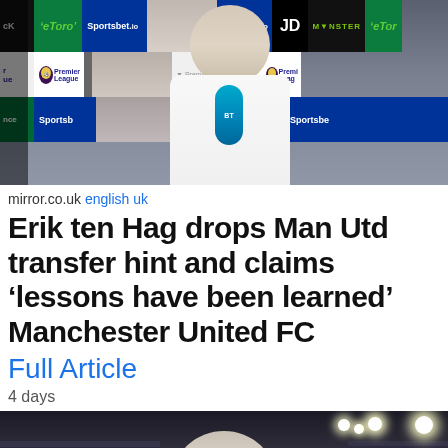[Figure (photo): Man being interviewed in front of Premier League sponsor backdrop with BT microphone, wearing white shirt. Visible sponsors: eToro, Sportsbet, JD, Monster, Premier League logos, lita, Life Insurance, Sportsbet.]
mirror.co.uk english uk
Erik ten Hag drops Man Utd transfer hint and claims 'lessons have been learned' Manchester United FC
Full Article
4 days
[Figure (photo): Bald man being interviewed in a stadium at night, with stadium lights visible in the background and crowd stands behind him.]